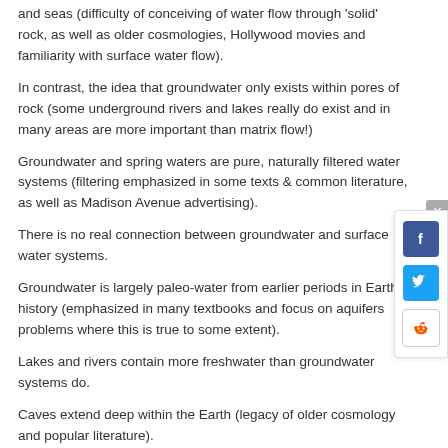and seas (difficulty of conceiving of water flow through 'solid' rock, as well as older cosmologies, Hollywood movies and familiarity with surface water flow).
In contrast, the idea that groundwater only exists within pores of rock (some underground rivers and lakes really do exist and in many areas are more important than matrix flow!)
Groundwater and spring waters are pure, naturally filtered water systems (filtering emphasized in some texts & common literature, as well as Madison Avenue advertising).
There is no real connection between groundwater and surface water systems.
Groundwater is largely paleo-water from earlier periods in Earth's history (emphasized in many textbooks and focus on aquifers problems where this is true to some extent).
Lakes and rivers contain more freshwater than groundwater systems do.
Caves extend deep within the Earth (legacy of older cosmology and popular literature).
Glacial Systems:
The 'Ice Ages' happened in the past and are now over (common text book and science education movie terminology, as well as